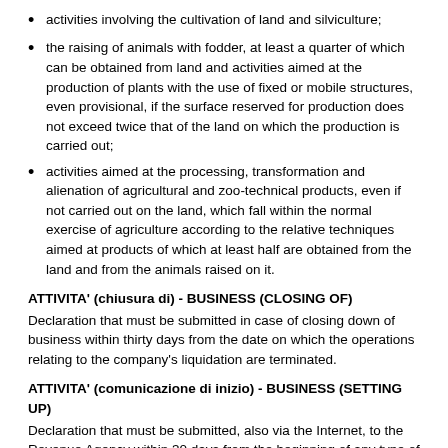activities involving the cultivation of land and silviculture;
the raising of animals with fodder, at least a quarter of which can be obtained from land and activities aimed at the production of plants with the use of fixed or mobile structures, even provisional, if the surface reserved for production does not exceed twice that of the land on which the production is carried out;
activities aimed at the processing, transformation and alienation of agricultural and zoo-technical products, even if not carried out on the land, which fall within the normal exercise of agriculture according to the relative techniques aimed at products of which at least half are obtained from the land and from the animals raised on it.
ATTIVITA' (chiusura di) - BUSINESS (CLOSING OF)
Declaration that must be submitted in case of closing down of business within thirty days from the date on which the operations relating to the company's liquidation are terminated.
ATTIVITA' (comunicazione di inizio) - BUSINESS (SETTING UP)
Declaration that must be submitted, also via the Internet, to the Revenue Agency within 30 days from the beginning of any type of economic activity or by the establishment of the company. The Revenue Agency assigns a VAT code that must be communicated to the